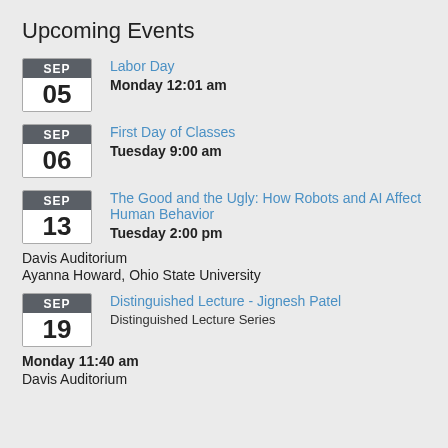Upcoming Events
SEP 05 | Labor Day | Monday 12:01 am
SEP 06 | First Day of Classes | Tuesday 9:00 am
SEP 13 | The Good and the Ugly: How Robots and AI Affect Human Behavior | Tuesday 2:00 pm
Davis Auditorium
Ayanna Howard, Ohio State University
SEP 19 | Distinguished Lecture - Jignesh Patel | Distinguished Lecture Series | Monday 11:40 am
Davis Auditorium